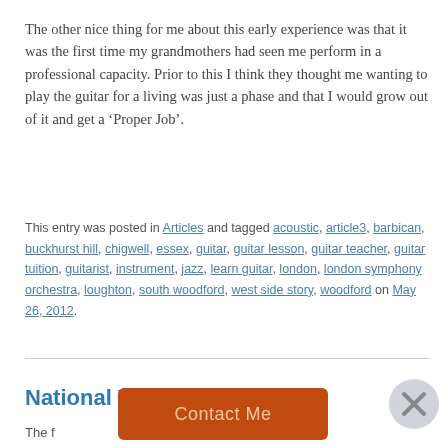The other nice thing for me about this early experience was that it was the first time my grandmothers had seen me perform in a professional capacity. Prior to this I think they thought me wanting to play the guitar for a living was just a phase and that I would grow out of it and get a ‘Proper Job’.
This entry was posted in Articles and tagged acoustic, article3, barbican, buckhurst hill, chigwell, essex, guitar, guitar lesson, guitar teacher, guitar tuition, guitarist, instrument, jazz, learn guitar, london, london symphony orchestra, loughton, south woodford, west side story, woodford on May 26, 2012.
National Y...
The f...
[Figure (other): Orange 'Contact Me' button overlay and a circular close (X) button in the lower portion of the page]